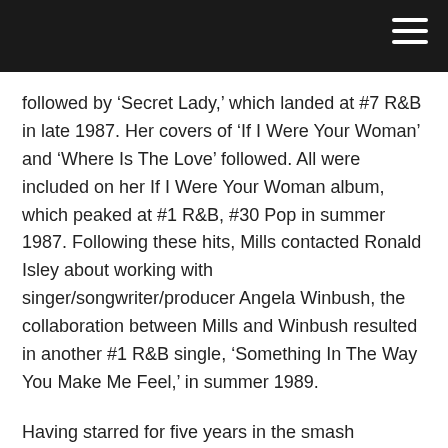followed by ‘Secret Lady,’ which landed at #7 R&B in late 1987. Her covers of ‘If I Were Your Woman’ and ‘Where Is The Love’ followed. All were included on her If I Were Your Woman album, which peaked at #1 R&B, #30 Pop in summer 1987. Following these hits, Mills contacted Ronald Isley about working with singer/songwriter/producer Angela Winbush, the collaboration between Mills and Winbush resulted in another #1 R&B single, ‘Something In The Way You Make Me Feel,’ in summer 1989.
Having starred for five years in the smash Broadway show The Wiz and recorded the song ‘Home’ for the play’s 1975 original cast soundtrack. On her new version of ‘Home,’ Take 6 sung the background vocals. The song went to #1 R&B in late 1990 and was followed by a #2 from R&B. Meanwhile, a #7...